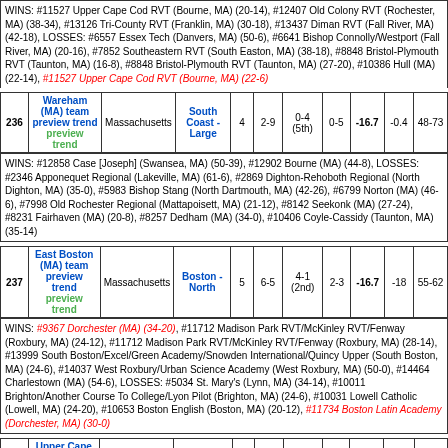|  | Team | State | Section |  | W-L | Conf | Conf Rank | Margin | Opp Margin | Pts |
| --- | --- | --- | --- | --- | --- | --- | --- | --- | --- | --- |
| WINS: #11527 Upper Cape Cod RVT (Bourne, MA) (20-14), #12407 Old Colony RVT (Rochester, MA) (38-34), #13126 Tri-County RVT (Franklin, MA) (30-18), #13437 Diman RVT (Fall River, MA) (42-18), LOSSES: #6557 Essex Tech (Danvers, MA) (50-6), #6641 Bishop Connolly/Westport (Fall River, MA) (20-16), #7852 Southeastern RVT (South Easton, MA) (38-18), #8848 Bristol-Plymouth RVT (Taunton, MA) (16-8), #8848 Bristol-Plymouth RVT (Taunton, MA) (27-20), #10386 Hull (MA) (22-14), #11527 Upper Cape Cod RVT (Bourne, MA) (22-6) |
| # | Team | State | Section |  | W-L | Conf | Conf Rank | Margin | Opp Margin | Pts |
| --- | --- | --- | --- | --- | --- | --- | --- | --- | --- | --- |
| 236 | Wareham (MA) team preview trend | Massachusetts | South Coast - Large | 4 | 2-9 | 0-4 (5th) | 0-5 | -16.7 | -0.4 | 48-73 |
WINS: #12858 Case [Joseph] (Swansea, MA) (50-39), #12902 Bourne (MA) (44-8), LOSSES: #2346 Apponequet Regional (Lakeville, MA) (61-6), #2869 Dighton-Rehoboth Regional (North Dighton, MA) (35-0), #5983 Bishop Stang (North Dartmouth, MA) (42-26), #6799 Norton (MA) (46-6), #7998 Old Rochester Regional (Mattapoisett, MA) (21-12), #8142 Seekonk (MA) (27-24), #8231 Fairhaven (MA) (20-8), #8257 Dedham (MA) (34-0), #10406 Coyle-Cassidy (Taunton, MA) (35-14)
| # | Team | State | Section |  | W-L | Conf | Conf Rank | Margin | Opp Margin | Pts |
| --- | --- | --- | --- | --- | --- | --- | --- | --- | --- | --- |
| 237 | East Boston (MA) team preview trend | Massachusetts | Boston - North | 5 | 6-5 | 4-1 (2nd) | 2-3 | -16.7 | -18 | 55-62 |
WINS: #9367 Dorchester (MA) (34-20), #11712 Madison Park RVT/McKinley RVT/Fenway (Roxbury, MA) (24-12), #11712 Madison Park RVT/McKinley RVT/Fenway (Roxbury, MA) (28-14), #13999 South Boston/Excel/Green Academy/Snowden International/Quincy Upper (South Boston, MA) (24-6), #14037 West Roxbury/Urban Science Academy (West Roxbury, MA) (50-0), #14464 Charlestown (MA) (54-6), LOSSES: #5034 St. Mary's (Lynn, MA) (34-14), #10011 Brighton/Another Course To College/Lyon Pilot (Brighton, MA) (24-6), #10031 Lowell Catholic (Lowell, MA) (24-20), #10653 Boston English (Boston, MA) (20-12), #11734 Boston Latin Academy (Dorchester, MA) (30-0)
| # | Team | State | Section |  | W-L | Conf | Conf Rank | Margin | Opp Margin | Pts |
| --- | --- | --- | --- | --- | --- | --- | --- | --- | --- | --- |
| 238 | Upper Cape Cod RVT (Bourne, MA) team | Massachusetts | Mayflower - Small | 6 | 5-6 | 3-2 (3rd) | 5-6 | -17.1 | -17.9 | 58-62 |